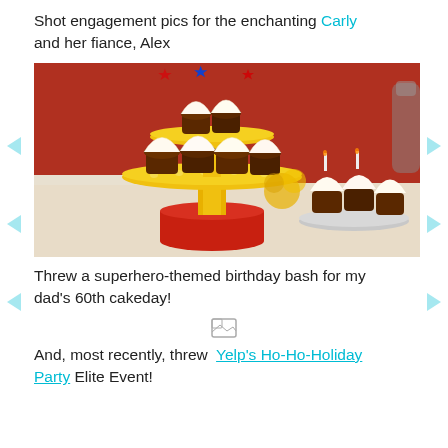Shot engagement pics for the enchanting Carly and her fiance, Alex
[Figure (photo): A two-tiered yellow and red cupcake stand filled with chocolate cupcakes topped with white frosting and superhero-themed star decorations; additional cupcakes on a silver stand visible in the background.]
Threw a superhero-themed birthday bash for my dad's 60th cakeday!
[Figure (photo): Small broken image icon placeholder]
And, most recently, threw Yelp's Ho-Ho-Holiday Party Elite Event!